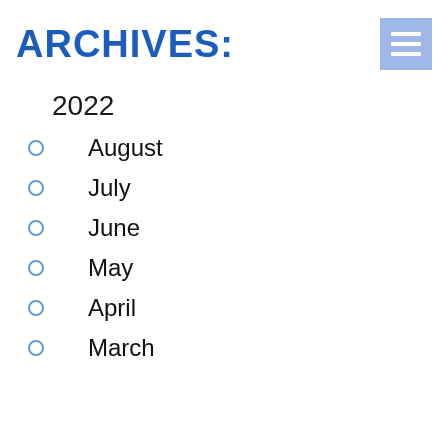ARCHIVES:
2022
August
July
June
May
April
March